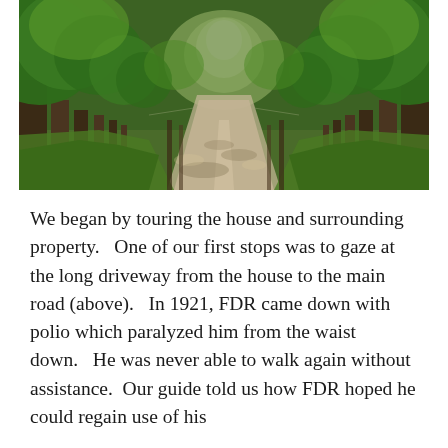[Figure (photo): A long tree-lined driveway receding into the distance, with large trees on both sides casting dappled shade on a dirt/gravel path, green grass on the sides, photographed in summer with lush green foliage.]
We began by touring the house and surrounding property.   One of our first stops was to gaze at the long driveway from the house to the main road (above).   In 1921, FDR came down with polio which paralyzed him from the waist down.   He was never able to walk again without assistance.  Our guide told us how FDR hoped he could regain use of his